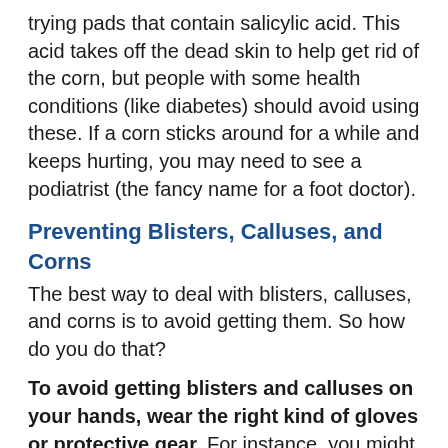trying pads that contain salicylic acid. This acid takes off the dead skin to help get rid of the corn, but people with some health conditions (like diabetes) should avoid using these. If a corn sticks around for a while and keeps hurting, you may need to see a podiatrist (the fancy name for a foot doctor).
Preventing Blisters, Calluses, and Corns
The best way to deal with blisters, calluses, and corns is to avoid getting them. So how do you do that?
To avoid getting blisters and calluses on your hands, wear the right kind of gloves or protective gear. For instance, you might use work gloves during yard work or palm protectors called "grips" for gymnastics.
To keep your feet callus-free, choose your shoes